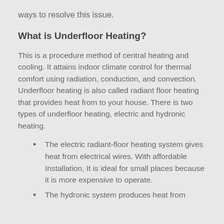ways to resolve this issue.
What is Underfloor Heating?
This is a procedure method of central heating and cooling. It attains indoor climate control for thermal comfort using radiation, conduction, and convection. Underfloor heating is also called radiant floor heating that provides heat from to your house. There is two types of underfloor heating, electric and hydronic heating.
The electric radiant-floor heating system gives heat from electrical wires. With affordable Installation, It is ideal for small places because it is more expensive to operate.
The hydronic system produces heat from